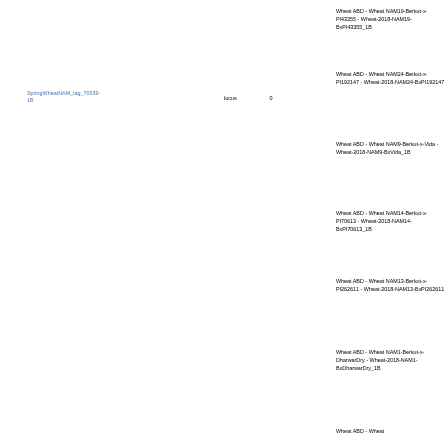SpringWheatNAM_tag_70539-1B
locus
0
Wheat ABD - Wheat NAM19-Berkut-x-PI43355 - Wheat-2018-NAM19-BxPI43355_1B
Wheat ABD - Wheat NAM24-Berkut-x-PI192147 - Wheat-2018-NAM24-BxPI192147
Wheat ABD - Wheat NAM9-Berkut-x-Vida - Wheat-2018-NAM9-BxVida_1B
Wheat ABD - Wheat NAM14-Berkut-x-PI70613 - Wheat-2018-NAM14-BxPI70613_1B
Wheat ABD - Wheat NAM13-Berkut-x-PI262611 - Wheat-2018-NAM13-BxPI262611
Wheat ABD - Wheat NAM1-Berkut-x-DharwarDry - Wheat-2018-NAM1-BxDharwarDry_1B
Wheat ABD - Wheat